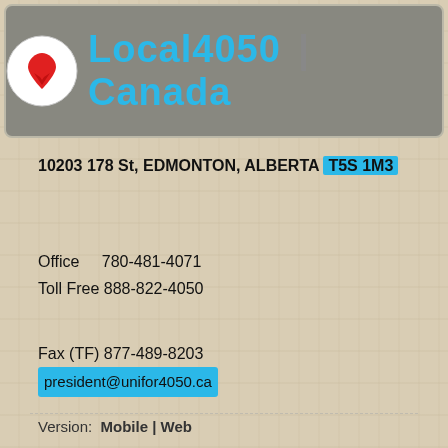[Figure (logo): Unifor Local 4050 Canada logo banner with red maple leaf/heart logo on grey background, text 'Local4050 | Canada' in cyan]
10203 178 St, EDMONTON, ALBERTA T5S 1M3
Office    780-481-4071
Toll Free 888-822-4050
Fax (TF) 877-489-8203
president@unifor4050.ca
Version:  Mobile |  Web